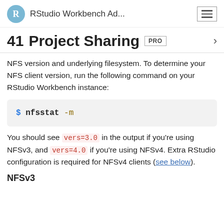RStudio Workbench Ad...
41  Project Sharing  PRO
NFS version and underlying filesystem. To determine your NFS client version, run the following command on your RStudio Workbench instance:
$ nfsstat -m
You should see vers=3.0 in the output if you're using NFSv3, and vers=4.0 if you're using NFSv4. Extra RStudio configuration is required for NFSv4 clients (see below).
NFSv3